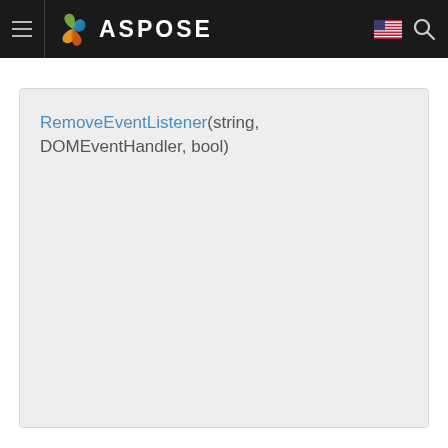ASPOSE
RemoveEventListener(string, DOMEventHandler, bool)